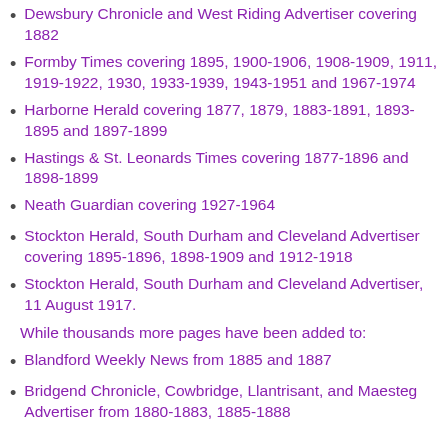Dewsbury Chronicle and West Riding Advertiser covering 1882
Formby Times covering 1895, 1900-1906, 1908-1909, 1911, 1919-1922, 1930, 1933-1939, 1943-1951 and 1967-1974
Harborne Herald covering 1877, 1879, 1883-1891, 1893-1895 and 1897-1899
Hastings & St. Leonards Times covering 1877-1896 and 1898-1899
Neath Guardian covering 1927-1964
Stockton Herald, South Durham and Cleveland Advertiser covering 1895-1896, 1898-1909 and 1912-1918
Stockton Herald, South Durham and Cleveland Advertiser, 11 August 1917.
While thousands more pages have been added to:
Blandford Weekly News from 1885 and 1887
Bridgend Chronicle, Cowbridge, Llantrisant, and Maesteg Advertiser from 1880-1883, 1885-1888